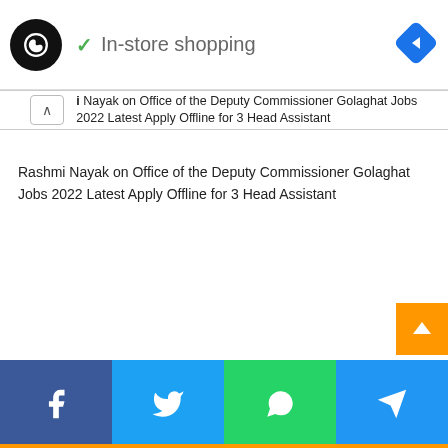[Figure (screenshot): Ad banner with circular logo (dark background, infinity-like icon), checkmark, 'In-store shopping' label, and blue navigation diamond icon on right]
↑ i Nayak on Office of the Deputy Commissioner Golaghat Jobs 2022 Latest Apply Offline for 3 Head Assistant
Rashmi Nayak on Office of the Deputy Commissioner Golaghat Jobs 2022 Latest Apply Offline for 3 Head Assistant
[Figure (infographic): Footer social share bar with Facebook (blue), Twitter (light blue), WhatsApp (green), Telegram (blue) buttons, and an orange scroll-to-top button]